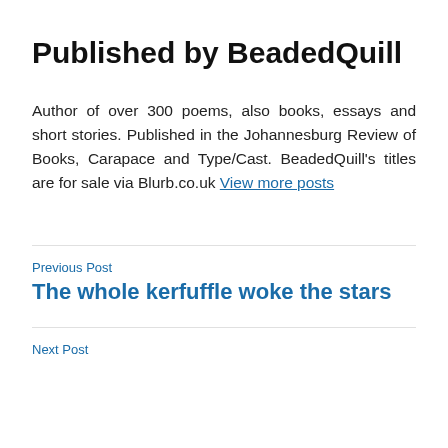Published by BeadedQuill
Author of over 300 poems, also books, essays and short stories. Published in the Johannesburg Review of Books, Carapace and Type/Cast. BeadedQuill’s titles are for sale via Blurb.co.uk View more posts
Previous Post
The whole kerfuffle woke the stars
Next Post